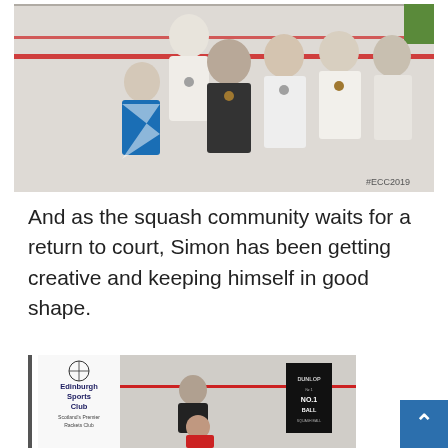[Figure (photo): Group photo of squash players with medals, some wearing Scotland flag and white team T-shirts, on a squash court. Hashtag #ECC2019 visible in bottom right corner.]
And as the squash community waits for a return to court, Simon has been getting creative and keeping himself in good shape.
[Figure (photo): Partial photo showing Edinburgh Sports Club Scotland's Premier Rackets Club banner, two people on a squash court, and a Dunlop No.1 Ball sign. A blue scroll-to-top button is in the bottom right.]